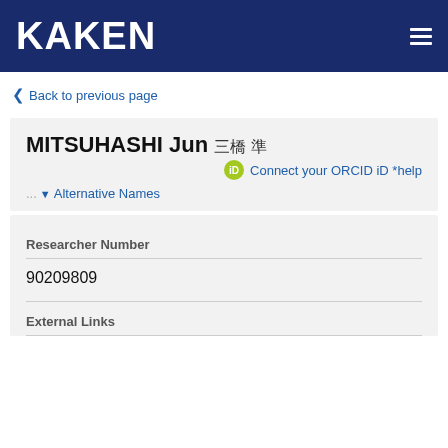KAKEN
Back to previous page
MITSUHASHI Jun 三橋 準
Connect your ORCID iD *help
... Alternative Names
Researcher Number
90209809
External Links